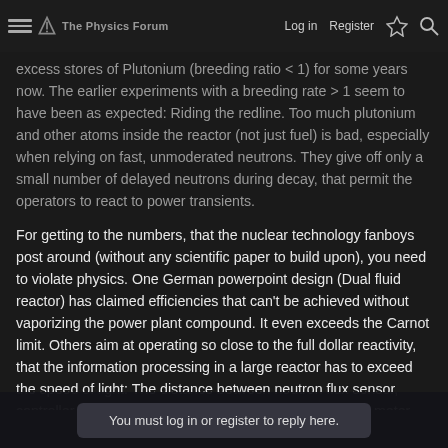The Physics Forum | Log in | Register
excess stores of Plutonium (breeding ratio < 1) for some years now. The earlier experiments with a breeding rate > 1 seem to have been as expected: Riding the redline. Too much plutonium and other atoms inside the reactor (not just fuel) is bad, especially when relying on fast, unmoderated neutrons. They give off only a small number of delayed neutrons during decay, that permit the operators to react to power transients.
For getting to the numbers, that the nuclear technology fanboys post around (without any scientific paper to build upon), you need to violate physics. One German powerpoint design (Dual fluid reactor) has claimed efficiencies that can't be achieved without vaporizing the power plant compound. It even exceeds the Carnot limit. Others aim at operating so close to the full dollar reactivity, that the information processing in a large reactor has to exceed the speed of light: The distance between neutron flux sensor, controller and control rod actuators has to be less than a meter, even when you assume instantly moving control rods.
You must log in or register to reply here.